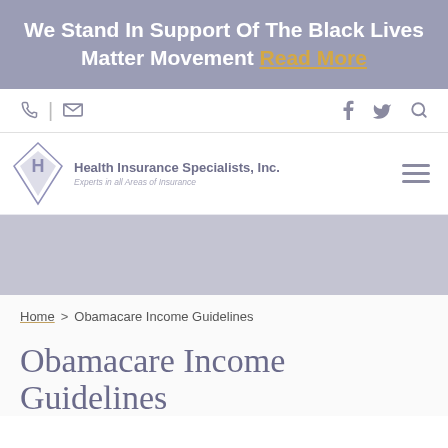We Stand In Support Of The Black Lives Matter Movement Read More
[Figure (screenshot): Website navigation bar with phone icon, divider, mail icon on the left; Facebook, Twitter, and search icons on the right]
[Figure (logo): Health Insurance Specialists, Inc. logo — diamond/rhombus shape with H letter, company name and tagline 'Experts in all Areas of Insurance', hamburger menu icon on right]
[Figure (photo): Gray hero/banner area below navigation]
Home > Obamacare Income Guidelines
Obamacare Income Guidelines